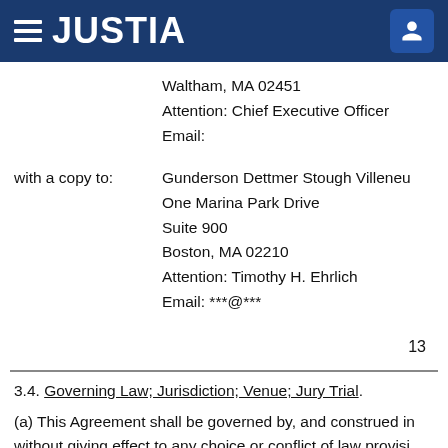JUSTIA
Waltham, MA 02451
Attention: Chief Executive Officer
Email:
with a copy to:
Gunderson Dettmer Stough Villeneu
One Marina Park Drive
Suite 900
Boston, MA 02210
Attention: Timothy H. Ehrlich
Email: ***@***
13
3.4. Governing Law; Jurisdiction; Venue; Jury Trial.
(a) This Agreement shall be governed by, and construed in without giving effect to any choice or conflict of law provisi